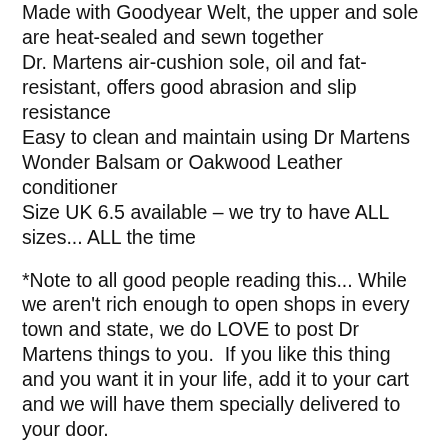Made with Goodyear Welt, the upper and sole are heat-sealed and sewn together
Dr. Martens air-cushion sole, oil and fat-resistant, offers good abrasion and slip resistance
Easy to clean and maintain using Dr Martens Wonder Balsam or Oakwood Leather conditioner
Size UK 6.5 available – we try to have ALL sizes... ALL the time
*Note to all good people reading this... While we aren't rich enough to open shops in every town and state, we do LOVE to post Dr Martens things to you. If you like this thing and you want it in your life, add it to your cart and we will have them specially delivered to your door.
When you order with us, we check the actual stock style. We open the box to ensure that the shoes are perfect and no surface scratches or inconsistencies wrong sizes appear etc... It happens! We personally